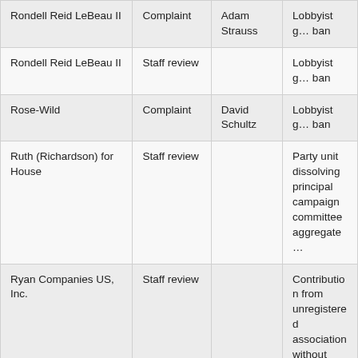| Name | Type | Complainant | Issue |
| --- | --- | --- | --- |
| Rondell Reid LeBeau II | Complaint | Adam Strauss | Lobbyist g… ban |
| Rondell Reid LeBeau II | Staff review |  | Lobbyist g… ban |
| Rose-Wild | Complaint | David Schultz | Lobbyist g… ban |
| Ruth (Richardson) for House | Staff review |  | Party unit dissolving principal campaign committee aggregate… |
| Ryan Companies US, Inc. | Staff review |  | Contribution from unregistered association without required disclosure… |
| Ryan Winkler for State Representative | Audit |  | Noncamp disbursement reported in 2019 |